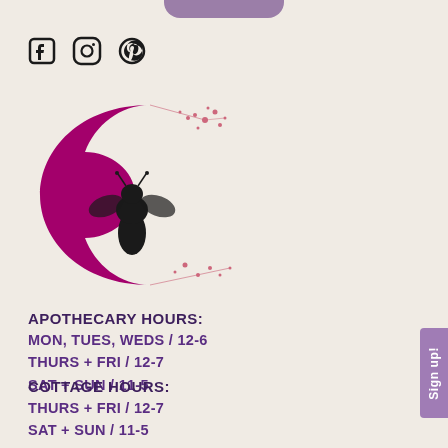[Figure (other): Purple/mauve rounded rectangle tab at top center of page]
[Figure (logo): Three social media icons: Facebook, Instagram, Pinterest in black outline style]
[Figure (logo): Apothecary logo: magenta crescent moon with floral sprigs and a black bee silhouette in the center]
APOTHECARY HOURS:
MON, TUES, WEDS / 12-6
THURS + FRI / 12-7
SAT + SUN / 11-5
COTTAGE HOURS:
THURS + FRI / 12-7
SAT + SUN / 11-5